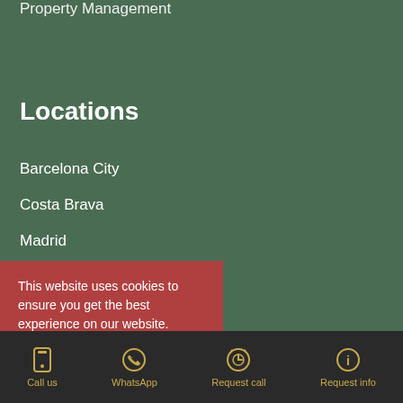Property Management
Locations
Barcelona City
Costa Brava
Madrid
This website uses cookies to ensure you get the best experience on our website. View privacy policy
Accept and close
Call us  WhatsApp  Request call  Request info